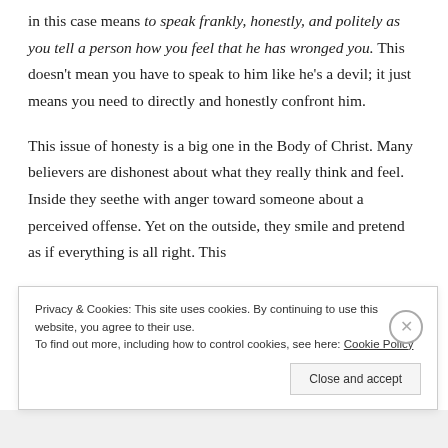in this case means to speak frankly, honestly, and politely as you tell a person how you feel that he has wronged you. This doesn't mean you have to speak to him like he's a devil; it just means you need to directly and honestly confront him.
This issue of honesty is a big one in the Body of Christ. Many believers are dishonest about what they really think and feel. Inside they seethe with anger toward someone about a perceived offense. Yet on the outside, they smile and pretend as if everything is all right. This
Privacy & Cookies: This site uses cookies. By continuing to use this website, you agree to their use. To find out more, including how to control cookies, see here: Cookie Policy
Close and accept